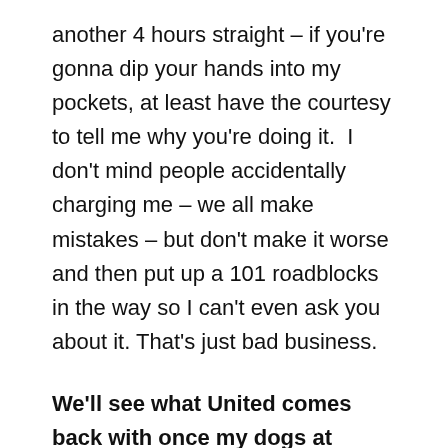another 4 hours straight – if you're gonna dip your hands into my pockets, at least have the courtesy to tell me why you're doing it.  I don't mind people accidentally charging me – we all make mistakes – but don't make it worse and then put up a 101 roadblocks in the way so I can't even ask you about it. That's just bad business.
We'll see what United comes back with once my dogs at Amex sniffs them down… for now, at least, it's credited 🙂
—————